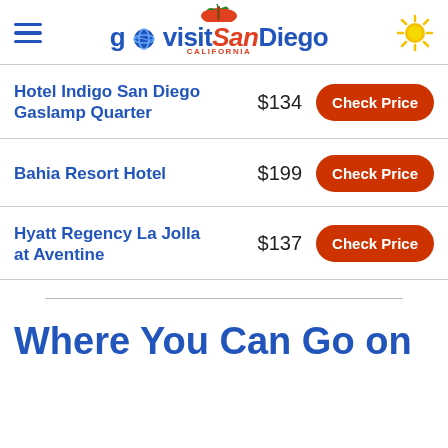go visit San Diego CALIFORNIA
Hotel Indigo San Diego Gaslamp Quarter  $134  Check Price
Bahia Resort Hotel  $199  Check Price
Hyatt Regency La Jolla at Aventine  $137  Check Price
Where You Can Go on